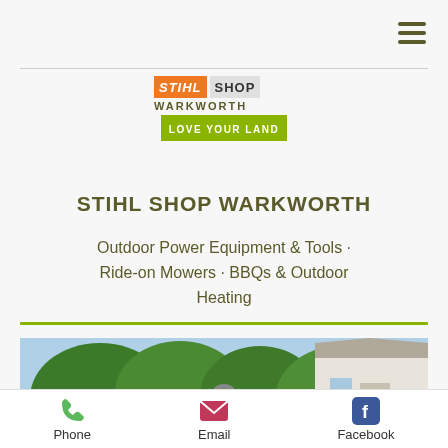[Figure (logo): STIHL SHOP Warkworth logo with orange STIHL badge, grey SHOP box, WARKWORTH text, and green LOVE YOUR LAND banner]
STIHL SHOP WARKWORTH
Outdoor Power Equipment & Tools · Ride-on Mowers · BBQs & Outdoor Heating
[Figure (photo): Outdoor photo of a man standing near trees and a house]
Phone   Email   Facebook